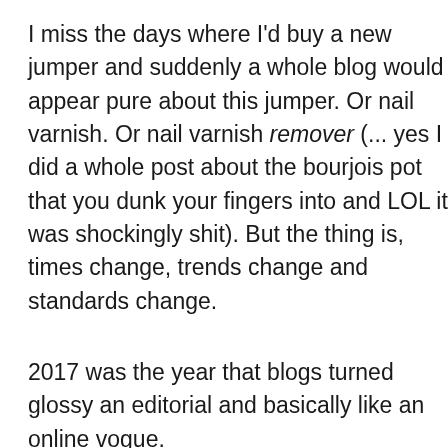I miss the days where I'd buy a new jumper and suddenly a whole blog would appear purely about this jumper. Or nail varnish. Or nail varnish remover (... yes I did a whole post about the bourjois pot that you dunk your fingers into and LOL it was shockingly shit). But the thing is, times change, trends change and standards change.
2017 was the year that blogs turned glossy and editorial and basically like an online vogue.
2018 was a bit like the year that blogs...